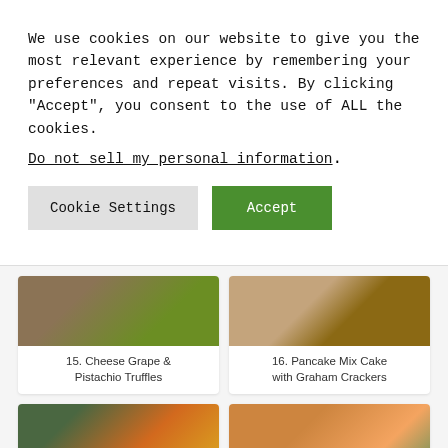We use cookies on our website to give you the most relevant experience by remembering your preferences and repeat visits. By clicking “Accept”, you consent to the use of ALL the cookies.
Do not sell my personal information.
Cookie Settings
Accept
[Figure (photo): Partial view of Cheese Grape & Pistachio Truffles food photo]
15. Cheese Grape & Pistachio Truffles
[Figure (photo): Partial view of Pancake Mix Cake with Graham Crackers food photo]
16. Pancake Mix Cake with Graham Crackers
[Figure (photo): A Healthy table setting viewed from above with fruits and dishes]
17. A Healthy
[Figure (photo): Chicken Soup with vegetables in a white bowl]
18. Chicken Soup with